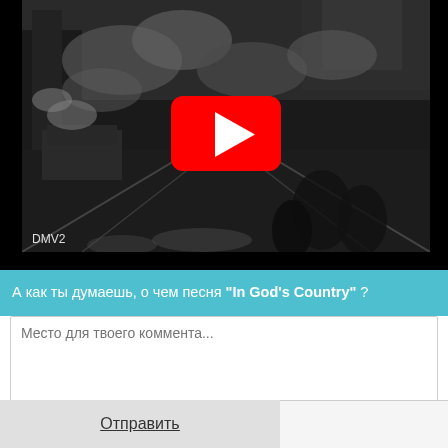[Figure (screenshot): YouTube video thumbnail showing a black-and-white historical scene with train tracks, smoke, and buildings. A red YouTube play button is visible in the center. 'DMV2' watermark is in the lower left of the video.]
А как ты думаешь, о чем песня "In God's Country" ?
Место для твоего коммента...
Отправить